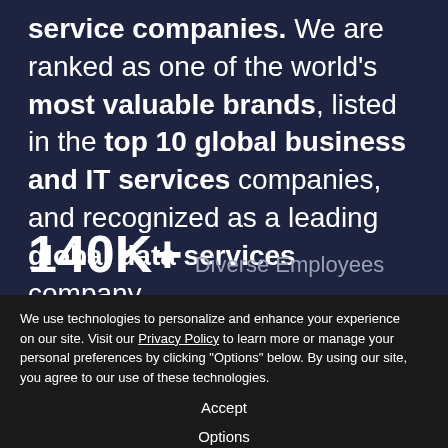service companies. We are ranked as one of the world's most valuable brands, listed in the top 10 global business and IT services companies, and recognized as a leading global data services company.
140K+ Diverse Employees
We use technologies to personalize and enhance your experience on our site. Visit our Privacy Policy to learn more or manage your personal preferences by clicking "Options" below. By using our site, you agree to our use of these technologies.
Accept
Options